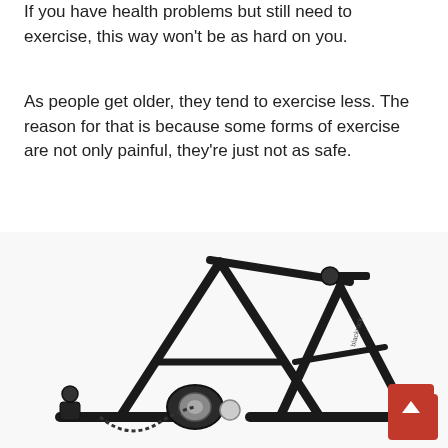If you have health problems but still need to exercise, this way won't be as hard on you.
As people get older, they tend to exercise less. The reason for that is because some forms of exercise are not only painful, they're just not as safe.
[Figure (photo): A black bicycle trainer/turbo trainer stand with magnetic resistance unit, flywheel, and adjustment lever, photographed on a white background.]